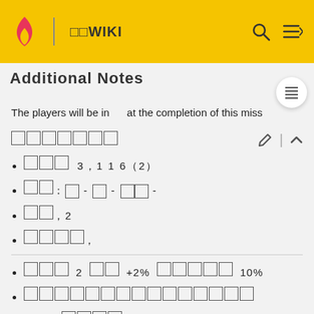□□WIKI
Additional Notes (partially visible)
The players will be in  at the completion of this miss
□□□□□□□
□□□ 3，1 1 6（2）
□□：□ - □ - □□ -
□□，2
□□□□，
□□□ 2 □□ +2% □□□□□ 10%
□□□□□□□□□□□□□□□
（□）□□□□，